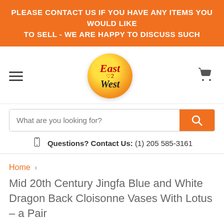PLEASE CONTACT US IF YOU HAVE ANY ITEMS YOU WOULD LIKE TO SELL - WE ARE HAPPY TO DISCUSS SUCH
[Figure (logo): East 2 West logo: circular badge with yellow-orange gradient, red italic 'East', small 'c2', black italic 'West']
Questions? Contact Us: (1) 205 585-3161
Home > Mid 20th Century Jingfa Blue and White Dragon Back Cloisonne Vases With Lotus - a Pair